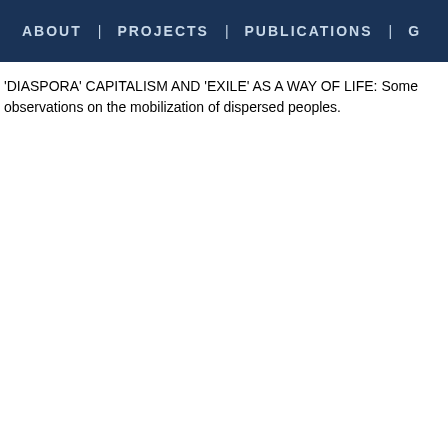ABOUT | PROJECTS | PUBLICATIONS | G
'DIASPORA' CAPITALISM AND 'EXILE' AS A WAY OF LIFE: Some observations on the mobilization of dispersed peoples.